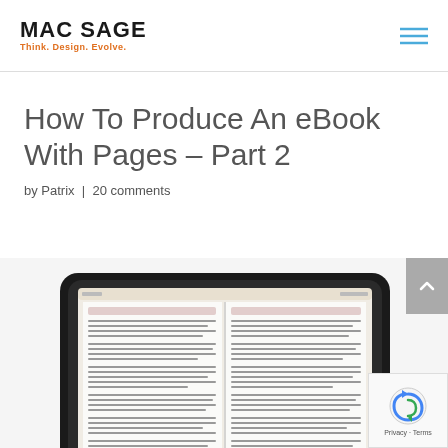MAC SAGE — Think. Design. Evolve.
How To Produce An eBook With Pages – Part 2
by Patrix | 20 comments
[Figure (photo): Person holding a tablet/iPad displaying an open book with two pages of text visible, representing an eBook reading experience.]